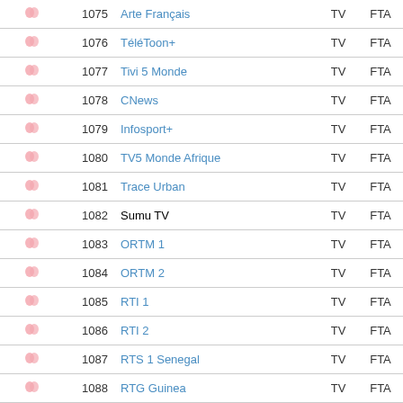| Icons | Num | Name | Type | Enc |
| --- | --- | --- | --- | --- |
|  | 1075 | Arte Français | TV | FTA |
|  | 1076 | TéléToon+ | TV | FTA |
|  | 1077 | Tivi 5 Monde | TV | FTA |
|  | 1078 | CNews | TV | FTA |
|  | 1079 | Infosport+ | TV | FTA |
|  | 1080 | TV5 Monde Afrique | TV | FTA |
|  | 1081 | Trace Urban | TV | FTA |
|  | 1082 | Sumu TV | TV | FTA |
|  | 1083 | ORTM 1 | TV | FTA |
|  | 1084 | ORTM 2 | TV | FTA |
|  | 1085 | RTI 1 | TV | FTA |
|  | 1086 | RTI 2 | TV | FTA |
|  | 1087 | RTS 1 Senegal | TV | FTA |
|  | 1088 | RTG Guinea | TV | FTA |
|  | 1089 | Cherifla TV | TV | FTA |
|  | 1090 | TV Albayane | TV | FTA |
|  | 1091 | Sunna TV Savana | TV | FTA |
|  | 1092 | Nieta TV | TV | FTA |
|  | 1093 | Mokadam TV | TV | FTA |
|  | 1094 | Renouveau TV | TV | FTA |